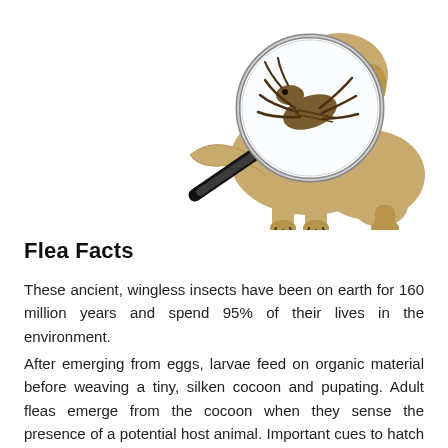[Figure (illustration): A golden retriever puppy sitting and scratching itself, with a magnifying glass in front showing a magnified flea illustration. White background.]
Flea Facts
These ancient, wingless insects have been on earth for 160 million years and spend 95% of their lives in the environment.
After emerging from eggs, larvae feed on organic material before weaving a tiny, silken cocoon and pupating. Adult fleas emerge from the cocoon when they sense the presence of a potential host animal. Important cues to hatch are an increase in carbon dioxide, temperature and vibrations as the animal